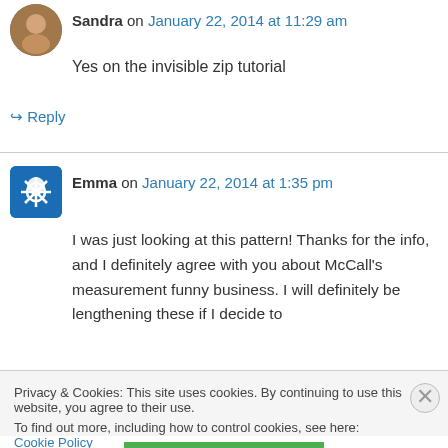Sandra on January 22, 2014 at 11:29 am
Yes on the invisible zip tutorial
↪ Reply
Emma on January 22, 2014 at 1:35 pm
I was just looking at this pattern! Thanks for the info, and I definitely agree with you about McCall's measurement funny business. I will definitely be lengthening these if I decide to
Privacy & Cookies: This site uses cookies. By continuing to use this website, you agree to their use.
To find out more, including how to control cookies, see here: Cookie Policy
Close and accept